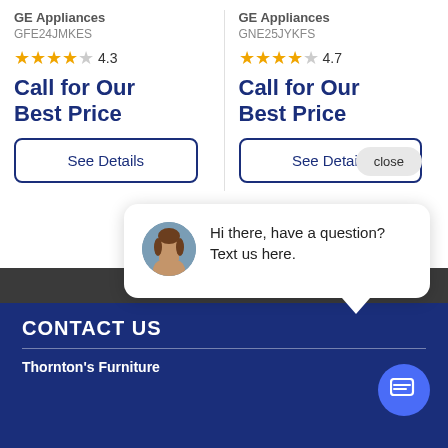GE Appliances GFE24JMKES
4.3
Call for Our Best Price
See Details
GE Appliances GNE25JYKFS
4.7
Call for Our Best Price
See Details
close
Hi there, have a question? Text us here.
CONTACT US
Thornton's Furniture